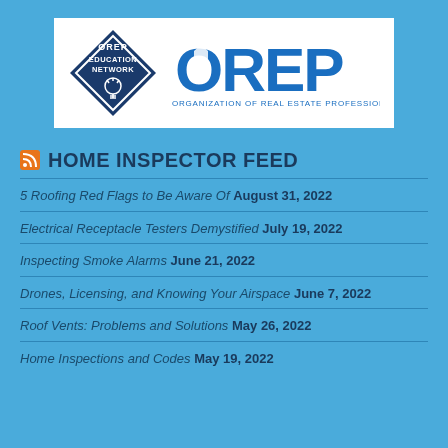[Figure (logo): OREP Education Network logo (diamond shape with lightbulb) and OREP Organization of Real Estate Professionals logo]
HOME INSPECTOR FEED
5 Roofing Red Flags to Be Aware Of August 31, 2022
Electrical Receptacle Testers Demystified July 19, 2022
Inspecting Smoke Alarms June 21, 2022
Drones, Licensing, and Knowing Your Airspace June 7, 2022
Roof Vents: Problems and Solutions May 26, 2022
Home Inspections and Codes May 19, 2022